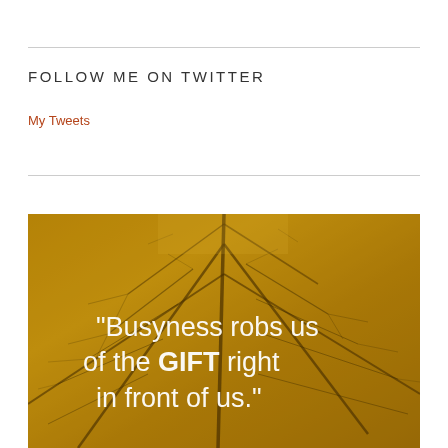FOLLOW ME ON TWITTER
My Tweets
[Figure (photo): Close-up macro photo of a golden/amber autumn leaf with visible veins. Overlaid white text reads: "Busyness robs us of the GIFT right in front of us."]